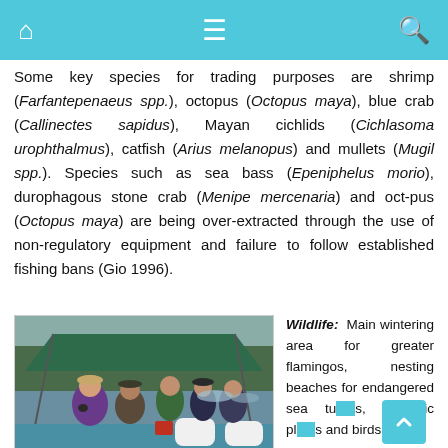Home menu search
Some key species for trading purposes are shrimp (Farfantepenaeus spp.), octopus (Octopus maya), blue crab (Callinectes sapidus), Mayan cichlids (Cichlasoma urophthalmus), catfish (Arius melanopus) and mullets (Mugil spp.). Species such as sea bass (Epeniphelus morio), durophagous stone crab (Menipe mercenaria) and oct-pus (Octopus maya) are being over-extracted through the use of non-regulatory equipment and failure to follow established fishing bans (Gio 1996).
[Figure (photo): People sitting on a boat under a green canopy, with mangroves and water in the background.]
Wildlife: Main wintering area for greater flamingos, nesting beaches for endangered sea turtles, endemic plants and birds in